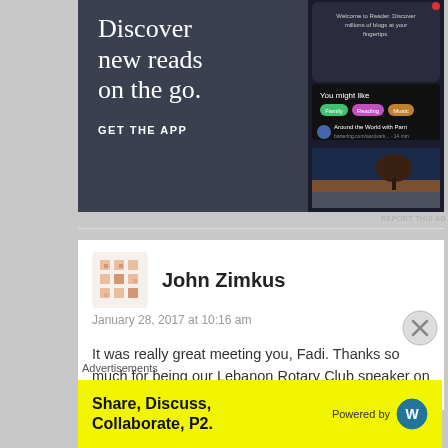[Figure (screenshot): Advertisement banner showing 'Discover new reads on the go.' with GET THE APP button and app screenshot on dark background]
REPORT THIS AD
John Zimkus
January 28, 2017 at 10:16 am
It was really great meeting you, Fadi. Thanks so much for being our Lebanon Rotary Club speaker on Thursday. Best of luck on the rest
Advertisements
[Figure (screenshot): Yellow advertisement: Share, Discuss, Collaborate, P2. Powered by WordPress logo]